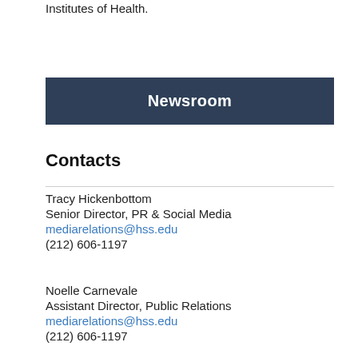Institutes of Health.
Newsroom
Contacts
Tracy Hickenbottom
Senior Director, PR & Social Media
mediarelations@hss.edu
(212) 606-1197
Noelle Carnevale
Assistant Director, Public Relations
mediarelations@hss.edu